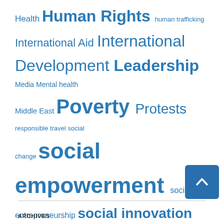[Figure (infographic): Tag cloud with various social/development topics in varying sizes, all in blue. Terms include: Health, Human Rights, human trafficking, International Aid, International Development, Leadership, Media, Mental health, Middle East, Poverty, Protests, responsible travel, social change, social empowerment, social entrepreneurship, social innovation, Social Inovation, social problems, Strategic Initiatives, sustainable development, sustainable impact, United Nations, women, women's rights, youth, Youth development]
SISGI GROUP ON PINTEREST
ARCHIVES